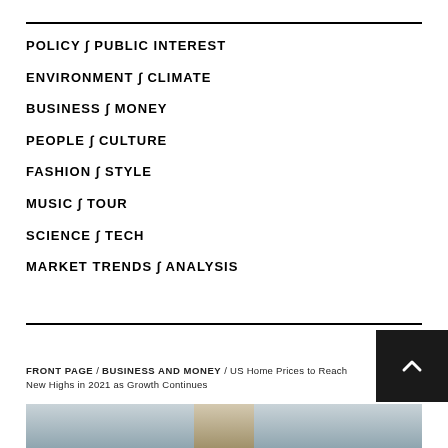POLICY ∫ PUBLIC INTEREST
ENVIRONMENT ∫ CLIMATE
BUSINESS ∫ MONEY
PEOPLE ∫ CULTURE
FASHION ∫ STYLE
MUSIC ∫ TOUR
SCIENCE ∫ TECH
MARKET TRENDS ∫ ANALYSIS
FRONT PAGE / BUSINESS AND MONEY / US Home Prices to Reach New Highs in 2021 as Growth Continues
[Figure (photo): Partial view of a building/architecture photo at the bottom of the page]